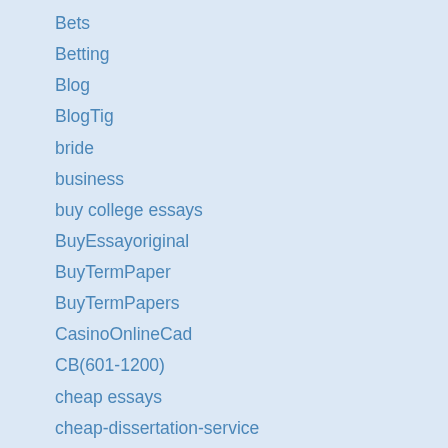Bets
Betting
Blog
BlogTig
bride
business
buy college essays
BuyEssayoriginal
BuyTermPaper
BuyTermPapers
CasinoOnlineCad
CB(601-1200)
cheap essays
cheap-dissertation-service
check grammar
Choose Writing Service
college essay
College Essay Writing Service